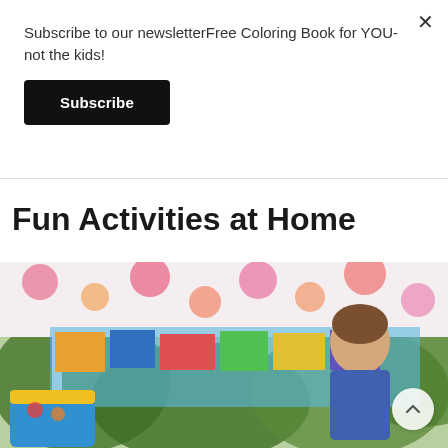Subscribe to our newsletterFree Coloring Book for YOU- not the kids!
Subscribe
Fun Activities at Home
[Figure (photo): Child playing outdoors under a colorful polka-dot canopy tent, with a yellow and blue toy basket in the foreground and green foliage in the background.]